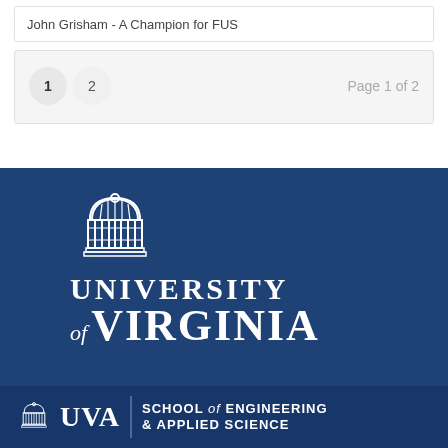John Grisham - A Champion for FUS
1  2  Page 1 of 2
[Figure (logo): University of Virginia logo with rotunda icon and wordmark on dark blue background]
[Figure (logo): UVA School of Engineering & Applied Science logo with rotunda icon on dark blue bar at bottom]